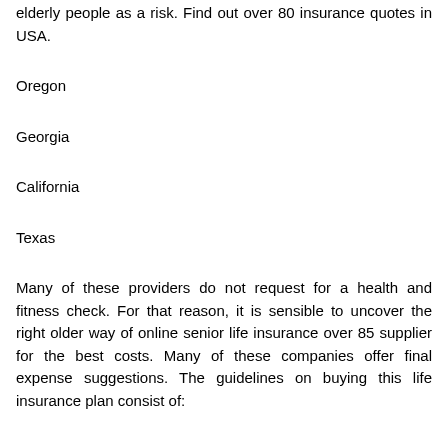elderly people as a risk. Find out over 80 insurance quotes in USA.
Oregon
Georgia
California
Texas
Many of these providers do not request for a health and fitness check. For that reason, it is sensible to uncover the right older way of online senior life insurance over 85 supplier for the best costs. Many of these companies offer final expense suggestions. The guidelines on buying this life insurance plan consist of: